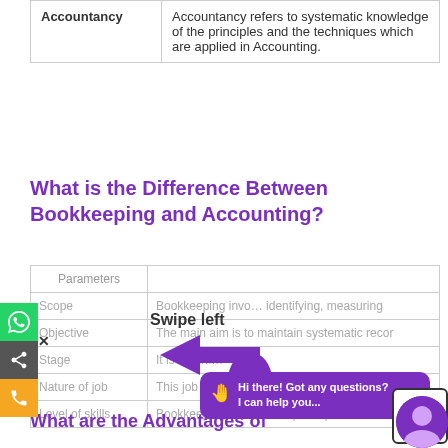|  |  |
| --- | --- |
| Accountancy | Accountancy refers to systematic knowledge of the principles and the techniques which are applied in Accounting. |
What is the Difference Between Bookkeeping and Accounting?
| Parameters |  |
| --- | --- |
| Scope | Bookkeeping involves identifying, measuring |
| Objective | The main aim is to maintain systematic recor |
| Stage | It is a prim... |
| Nature of job | This job is... |
| Level of skills | Bookkeeping does not require special skills |
What are the Advantages of Accounting?